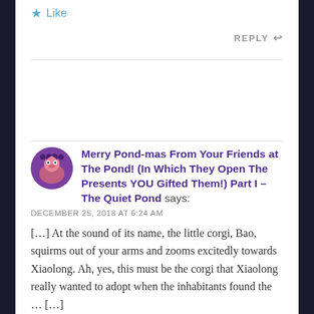★ Like
REPLY ↩
Merry Pond-mas From Your Friends at The Pond! (In Which They Open The Presents YOU Gifted Them!) Part I – The Quiet Pond says:
DECEMBER 25, 2018 AT 6:24 AM
[…] At the sound of its name, the little corgi, Bao, squirms out of your arms and zooms excitedly towards Xiaolong. Ah, yes, this must be the corgi that Xiaolong really wanted to adopt when the inhabitants found the … […]